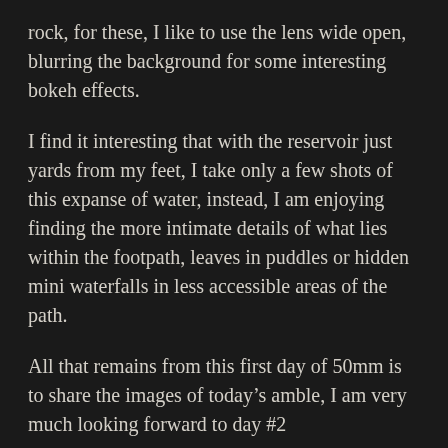rock, for these, I like to use the lens wide open, blurring the background for some interesting bokeh effects.
I find it interesting that with the reservoir just yards from my feet, I take only a few shots of this expanse of water, instead, I am enjoying finding the more intimate details of what lies within the footpath, leaves in puddles or hidden mini waterfalls in less accessible areas of the path.
All that remains from this first day of 50mm is to share the images of today's amble, I am very much looking forward to day #2